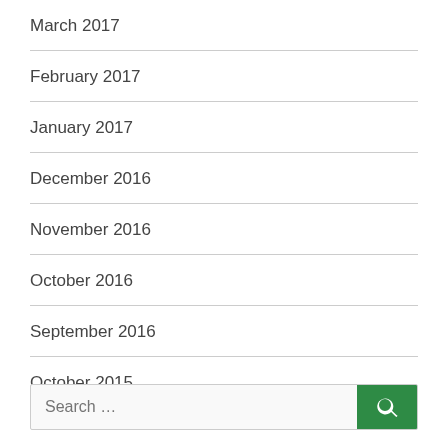March 2017
February 2017
January 2017
December 2016
November 2016
October 2016
September 2016
October 2015